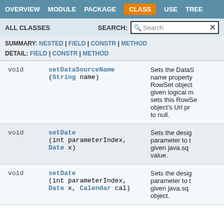OVERVIEW  MODULE  PACKAGE  CLASS  USE  TREE
ALL CLASSES   SEARCH:  [Search]
SUMMARY: NESTED | FIELD | CONSTR | METHOD
DETAIL: FIELD | CONSTR | METHOD
| Return Type | Method | Description |
| --- | --- | --- |
| void | setDataSourceName(String name) | Sets the DataS... name property... RowSet object... given logical m... sets this RowSe... object's Url pr... to null. |
| void | setDate(int parameterIndex, Date x) | Sets the desig... parameter to t... given java.sq... value. |
| void | setDate(int parameterIndex, Date x, Calendar cal) | Sets the desig... parameter to t... given java.sq... object. |